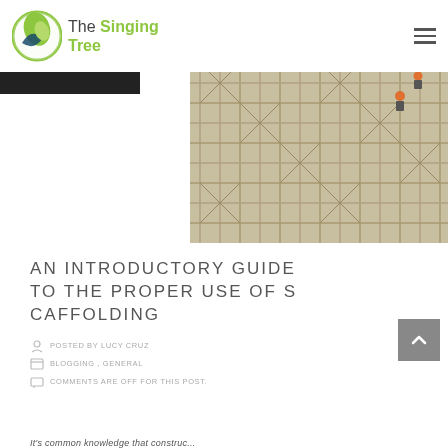The Singing Tree
[Figure (photo): Workers on bamboo scaffolding construction, two workers visible in orange hard hats climbing on a large grid of scaffolding poles]
AN INTRODUCTORY GUIDE TO THE PROPER USE OF SCAFFOLDING
POSTED BY LUCY CRUZ
BLOGGING , GENERAL
COMMENTS ARE OFF FOR THIS POST.
It's common knowledge that construc...